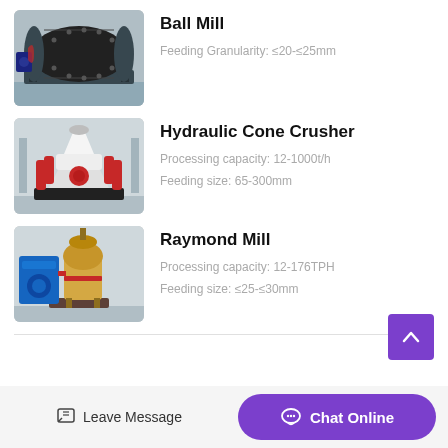[Figure (photo): Ball Mill industrial grinding machine, large black cylindrical drum on a frame]
Ball Mill
Feeding Granularity: ≤20-≤25mm
[Figure (photo): Hydraulic Cone Crusher machine, white and red industrial crusher on a black base]
Hydraulic Cone Crusher
Processing capacity: 12-1000t/h
Feeding size: 65-300mm
[Figure (photo): Raymond Mill machine, beige/gold colored industrial mill with blue components]
Raymond Mill
Processing capacity: 12-176TPH
Feeding size: ≤25-≤30mm
Leave Message   Chat Online